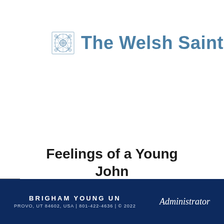The Welsh Saints P
Feelings of a Young John
BRIGHAM YOUNG UN | PROVO, UT 84602, USA | 801-422-4636 | © 2022 | Administrator